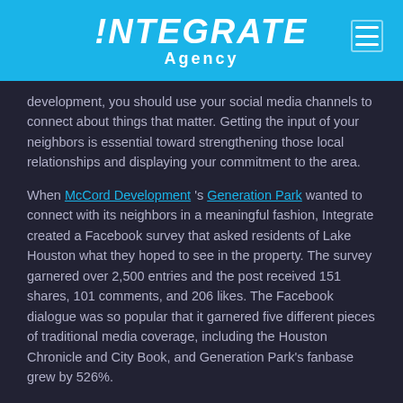!NTEGRATE Agency
development, you should use your social media channels to connect about things that matter. Getting the input of your neighbors is essential toward strengthening those local relationships and displaying your commitment to the area.
When McCord Development 's Generation Park wanted to connect with its neighbors in a meaningful fashion, Integrate created a Facebook survey that asked residents of Lake Houston what they hoped to see in the property. The survey garnered over 2,500 entries and the post received 151 shares, 101 comments, and 206 likes. The Facebook dialogue was so popular that it garnered five different pieces of traditional media coverage, including the Houston Chronicle and City Book, and Generation Park's fanbase grew by 526%.